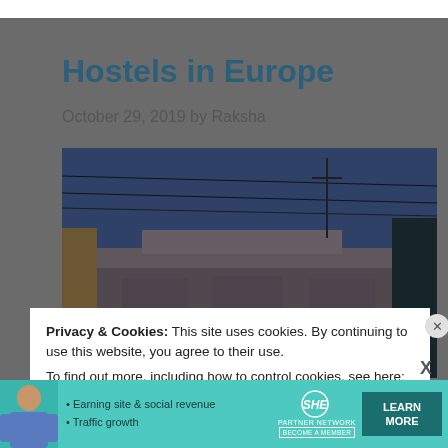Hostels in Europe
October 29, 2019 by Raksha
[Figure (photo): Exterior of a European building at dusk with power lines visible overhead, dark blue sky in background, ornate architectural details on the building facade.]
Privacy & Cookies: This site uses cookies. By continuing to use this website, you agree to their use.
To find out more, including how to control cookies, see here: Cookie Policy
[Figure (infographic): SHE Partner Network advertisement banner with teal background. Text: '• Earning site & social revenue  • Traffic growth'. SHE logo with 'PARTNER NETWORK / BECOME A MEMBER'. 'LEARN MORE' button in dark teal.]